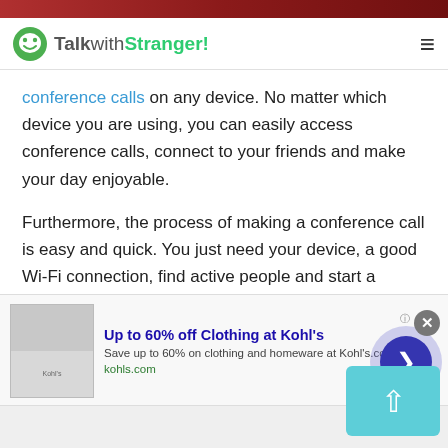[Figure (screenshot): TalkwithStranger website header with green logo and hamburger menu]
conference calls on any device. No matter which device you are using, you can easily access conference calls, connect to your friends and make your day enjoyable.
Furthermore, the process of making a conference call is easy and quick. You just need your device, a good Wi-Fi connection, find active people and start a stranger chat free of cost. And one great advantage is you can talk to more than 25 people at a time. Yes, whether you need to talk to strangers in Egypt or people from different countries, you can add...
[Figure (screenshot): Kohl's advertisement banner: Up to 60% off Clothing at Kohl's, Save up to 60% on clothing and homeware at Kohl's.com, kohls.com]